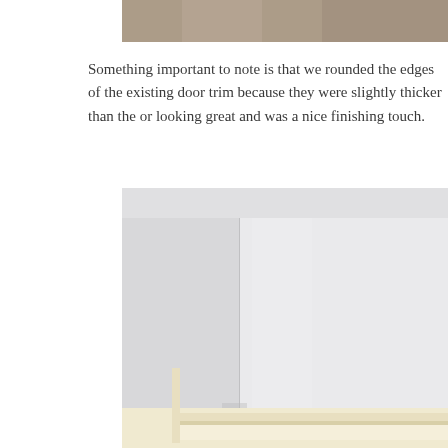[Figure (photo): Top partial photo showing what appears to be a wooden surface or flooring material, cropped at the top of the page.]
Something important to note is that we rounded the edges of the existing door trim because they were slightly thicker than the or looking great and was a nice finishing touch.
[Figure (photo): Photo showing a white wall corner with door trim/molding installation, with cream/white painted wooden trim visible at the bottom of the image.]